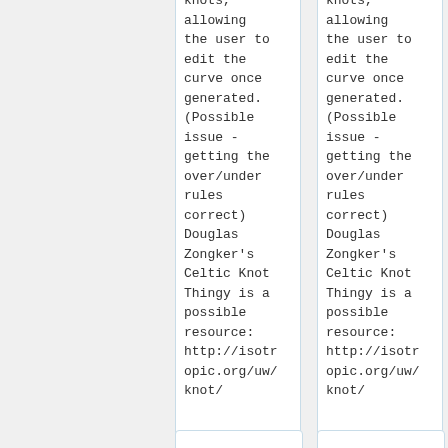knots, allowing the user to edit the curve once generated. (Possible issue - getting the over/under rules correct) Douglas Zongker's Celtic Knot Thingy is a possible resource: http://isotropic.org/uw/knot/
knots, allowing the user to edit the curve once generated. (Possible issue - getting the over/under rules correct) Douglas Zongker's Celtic Knot Thingy is a possible resource: http://isotropic.org/uw/knot/